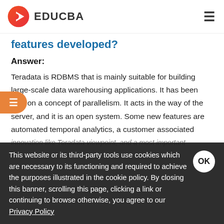EDUCBA
features developed?
Answer:
Teradata is RDBMS that is mainly suitable for building large-scale data warehousing applications. It has been built on a concept of parallelism. It acts in the way of the server, and it is an open system. Some new features are automated temporal analytics, a customer associated innovation like Teradata viewpoint, and a most important
This website or its third-party tools use cookies which are necessary to its functioning and required to achieve the purposes illustrated in the cookie policy. By closing this banner, scrolling this page, clicking a link or continuing to browse otherwise, you agree to our Privacy Policy